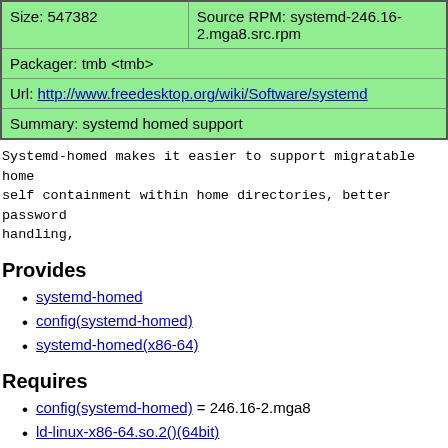| Size: 547382 | Source RPM: systemd-246.16-2.mga8.src.rpm |
| Packager: tmb <tmb> |  |
| Url: http://www.freedesktop.org/wiki/Software/systemd |  |
| Summary: systemd homed support |  |
Systemd-homed makes it easier to support migratable home self containment within home directories, better password handling,
Provides
systemd-homed
config(systemd-homed)
systemd-homed(x86-64)
Requires
config(systemd-homed) = 246.16-2.mga8
ld-linux-x86-64.so.2()(64bit)
ld-linux-x86-64.so.2(GLIBC_2.3)(64bit)